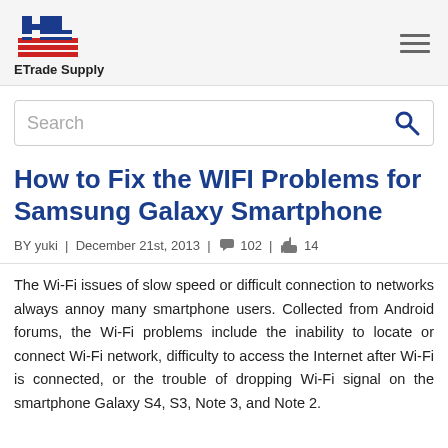ETrade Supply
Search
How to Fix the WIFI Problems for Samsung Galaxy Smartphone
BY yuki | December 21st, 2013 | 102 | 14
The Wi-Fi issues of slow speed or difficult connection to networks always annoy many smartphone users. Collected from Android forums, the Wi-Fi problems include the inability to locate or connect Wi-Fi network, difficulty to access the Internet after Wi-Fi is connected, or the trouble of dropping Wi-Fi signal on the smartphone Galaxy S4, S3, Note 3, and Note 2.